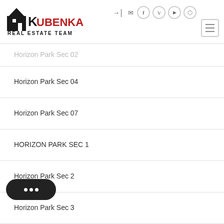Kubenka Real Estate Team
Horizon Park Sec 02
Horizon Park Sec 04
Horizon Park Sec 07
HORIZON PARK SEC 1
Horizon Park Sec 2
Horizon Park Sec 3
Inman T
...anch